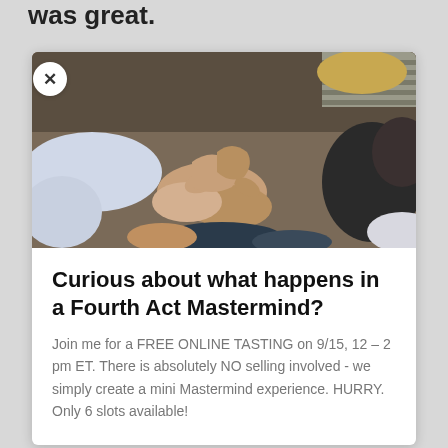was great.
[Figure (photo): Group of people sitting in a circle, hands gesturing, a discussion or mastermind group setting]
Curious about what happens in a Fourth Act Mastermind?
Join me for a FREE ONLINE TASTING on 9/15, 12 – 2 pm ET. There is absolutely NO selling involved - we simply create a mini Mastermind experience. HURRY. Only 6 slots available!